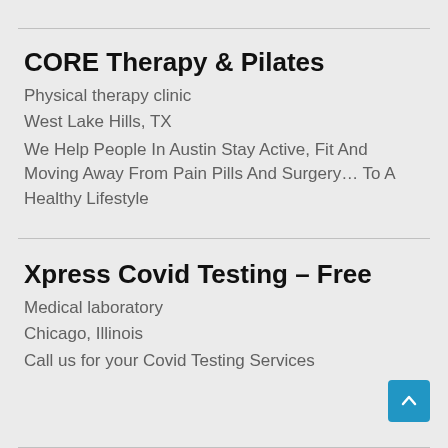CORE Therapy & Pilates
Physical therapy clinic
West Lake Hills, TX
We Help People In Austin Stay Active, Fit And Moving Away From Pain Pills And Surgery… To A Healthy Lifestyle
Xpress Covid Testing – Free
Medical laboratory
Chicago, Illinois
Call us for your Covid Testing Services